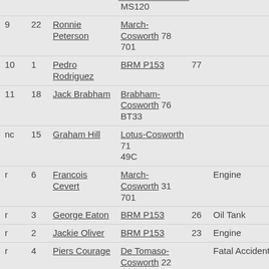| Pos | No | Driver | Car | Laps | Retirement | Grid |
| --- | --- | --- | --- | --- | --- | --- |
| 9 | 22 | Ronnie Peterson | March-Cosworth 701 | 78 |  | 16 |
| 10 | 1 | Pedro Rodriguez | BRM P153 | 77 |  | 7 |
| 11 | 18 | Jack Brabham | Brabham-Cosworth BT33 | 76 |  | 12 |
| nc | 15 | Graham Hill | Lotus-Cosworth 49C | 71 |  | 20 |
| r | 6 | Francois Cevert | March-Cosworth 701 | 31 | Engine | 15 |
| r | 3 | George Eaton | BRM P153 | 26 | Oil Tank | 18 |
| r | 2 | Jackie Oliver | BRM P153 | 23 | Engine | 5 |
| r | 4 | Piers Courage | De Tomaso-Cosworth 505 | 22 | Fatal Accident | 9 |
| r | 9 | Jo Siffert | March-Cosworth 701 | 22 | Engine | 17 |
| r | 20 | Peter Gethin | McLaren-Cosworth | 18 | Accident | 11 |